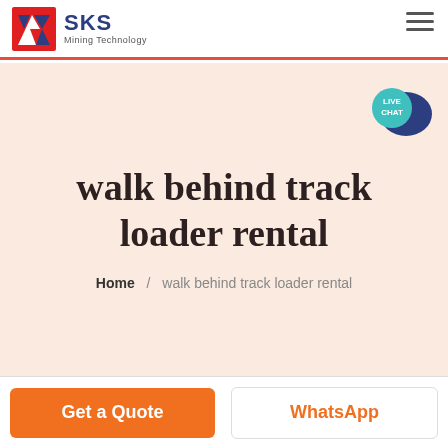[Figure (logo): SKS Mining Technology logo with red and blue geometric icon and company name]
walk behind track loader rental
Home / walk behind track loader rental
[Figure (illustration): Live Chat speech bubble icon in teal/dark blue]
Get a Quote
WhatsApp